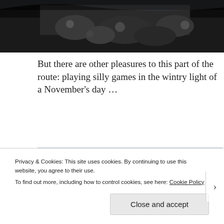[Figure (photo): Top portion of a dark photograph, partially visible, showing stones or rocks in dim light]
But there are other pleasures to this part of the route: playing silly games in the wintry light of a November's day ...
[Figure (photo): A person crouching beside a stone wall in an open countryside setting under a wintry sky]
Privacy & Cookies: This site uses cookies. By continuing to use this website, you agree to their use.
To find out more, including how to control cookies, see here: Cookie Policy